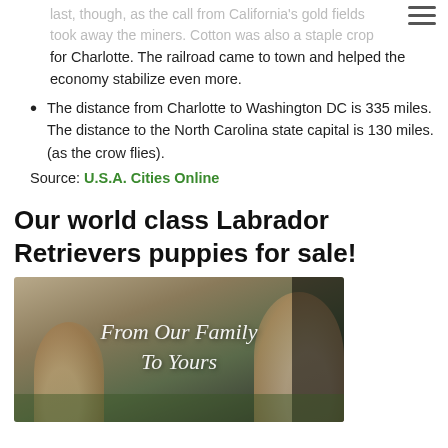last, though, as the call from California's gold fields took away the miners. Cotton was also a staple crop for Charlotte. The railroad came to town and helped the economy stabilize even more.
The distance from Charlotte to Washington DC is 335 miles. The distance to the North Carolina state capital is 130 miles. (as the crow flies).
Source: U.S.A. Cities Online
Our world class Labrador Retrievers puppies for sale!
[Figure (photo): Photo of Labrador Retriever puppies on grass with text overlay 'From Our Family To Yours']